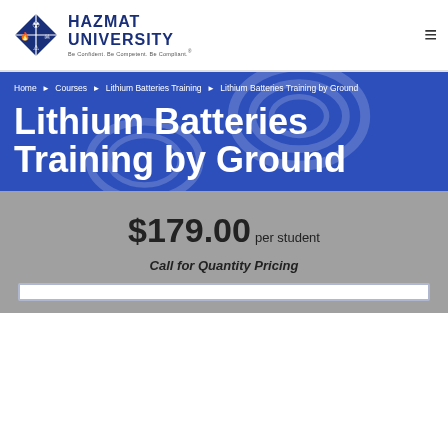HAZMAT UNIVERSITY — Be Confident. Be Competent. Be Compliant.
Home › Courses › Lithium Batteries Training › Lithium Batteries Training by Ground
Lithium Batteries Training by Ground
$179.00 per student
Call for Quantity Pricing